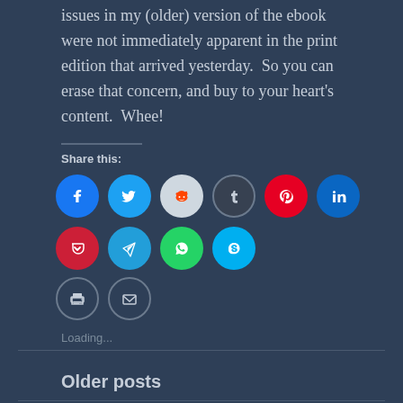issues in my (older) version of the ebook were not immediately apparent in the print edition that arrived yesterday.  So you can erase that concern, and buy to your heart's content.  Whee!
Share this:
[Figure (infographic): Row of social media sharing icon buttons: Facebook (blue), Twitter (light blue), Reddit (light grey), Tumblr (dark), Pinterest (red), LinkedIn (blue), Pocket (red), Telegram (blue), WhatsApp (green), Skype (light blue), Print (white outline), Email (white outline)]
Loading...
Older posts